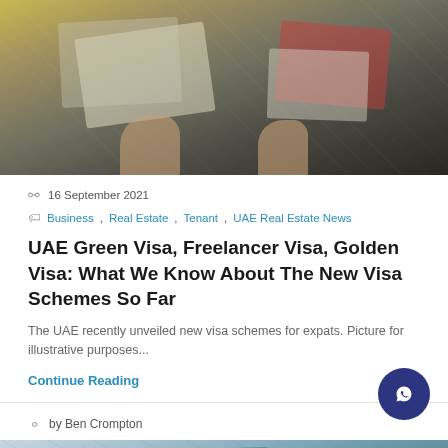[Figure (photo): Photo of hands holding passports with visa stamps and documents on a yellow/brown surface]
16 September 2021
Business, Real Estate, Tenant, UAE Real Estate News
UAE Green Visa, Freelancer Visa, Golden Visa: What We Know About The New Visa Schemes So Far
The UAE recently unveiled new visa schemes for expats. Picture for illustrative purposes...
Continue Reading
by Ben Crompton
[Figure (photo): Close-up photo of passport pages with colorful visa stamps]